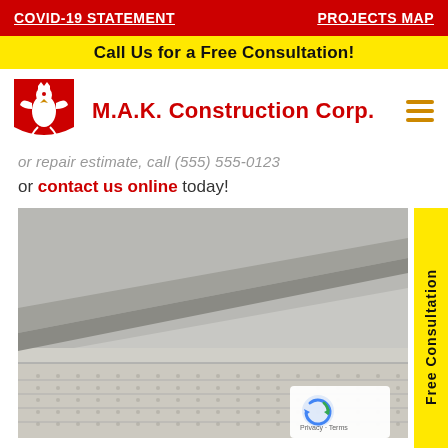COVID-19 STATEMENT    PROJECTS MAP
Call Us for a Free Consultation!
[Figure (logo): M.A.K. Construction Corp. logo with Polish eagle emblem in red and white]
M.A.K. Construction Corp.
or repair estimate, call (555) 555-0123 or contact us online today!
[Figure (photo): Close-up photo of aluminum soffit and fascia panels installed on a building exterior, showing perforated ventilation strips and diagonal metal trim pieces in grey/beige tones]
Free Consultation
Privacy · Terms